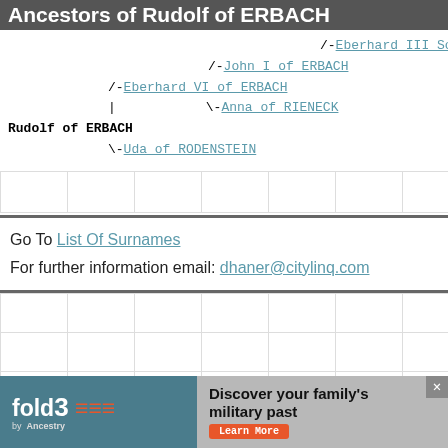Ancestors of Rudolf of ERBACH
[Figure (other): Genealogy tree showing ancestors of Rudolf of ERBACH. Lines: /- Eberhard III Schenk of [E...] (top right, cut off), /-John I of ERBACH, /-Eberhard VI of ERBACH, | \-Anna of RIENECK, Rudolf of ERBACH (bold), \-Uda of RODENSTEIN]
Go To List Of Surnames
For further information email: dhaner@citylinq.com
[Figure (other): Advertisement banner for Fold3 by Ancestry: 'Discover your family's military past - Learn More']